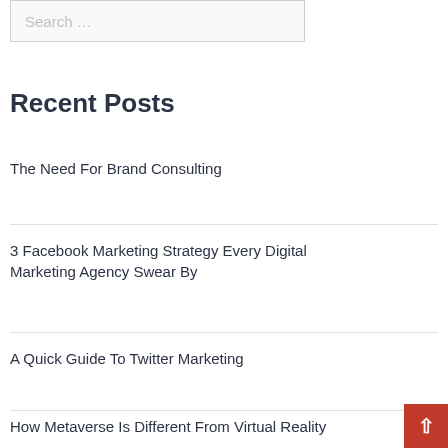Search …
Recent Posts
The Need For Brand Consulting
3 Facebook Marketing Strategy Every Digital Marketing Agency Swear By
A Quick Guide To Twitter Marketing
How Metaverse Is Different From Virtual Reality